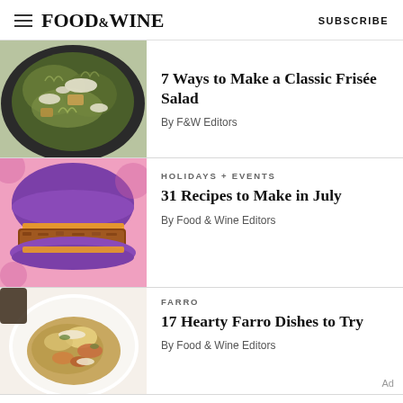FOOD&WINE   SUBSCRIBE
[Figure (photo): Overhead view of a frisée salad in a dark bowl with cheese and croutons]
7 Ways to Make a Classic Frisée Salad
By F&W Editors
HOLIDAYS + EVENTS
[Figure (photo): A bright purple hamburger bun sandwich with fried chicken and sauce on a pink background]
31 Recipes to Make in July
By Food & Wine Editors
FARRO
[Figure (photo): A white plate with hearty farro dish with vegetables and meat]
17 Hearty Farro Dishes to Try
By Food & Wine Editors
Ad